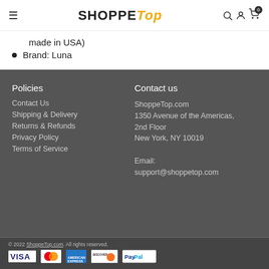SHOPPE Top
made in USA)
Brand: Luna
Policies
Contact Us
Shipping & Delivery
Returns & Refunds
Privacy Policy
Terms of Service
Contact us
ShoppeTop.com
1350 Avenue of the Americas, 2nd Floor
New York, NY 10019

Email:
support@shoppetop.com
© 2022 ShoppeTop.com. All rights reserved.